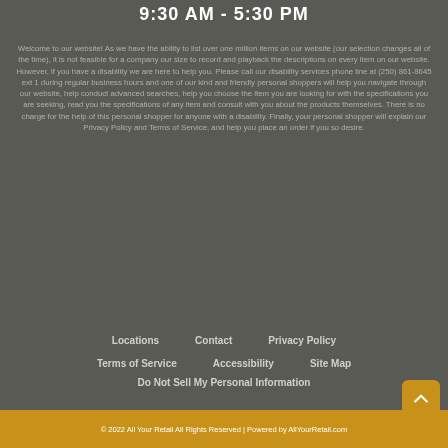9:30 AM - 5:30 PM
Welcome to our website! As we have the ability to list over one million items on our website (our selection changes all of the time), it is not feasible for a company our size to record and playback the descriptions on every item on our website. However, if you have a disability we are here to help you. Please call our disability services phone line at (250) 861-8645 ext 1 during regular business hours and one of our kind and friendly personal shoppers will help you navigate through our website, help conduct advanced searches, help you choose the item you are looking for with the specifications you are seeking, read you the specifications of any item and consult with you about the products themselves. There is no charge for the help of this personal shopper for anyone with a disability. Finally, your personal shopper will explain our Privacy Policy and Terms of Service, and help you place an order if you so desire.
Locations
Contact
Privacy Policy
Terms of Service
Accessibility
Site Map
Do Not Sell My Personal Information
© 2022 All Your Retail All Rights Reserved | Powered by AllYourRetail.com